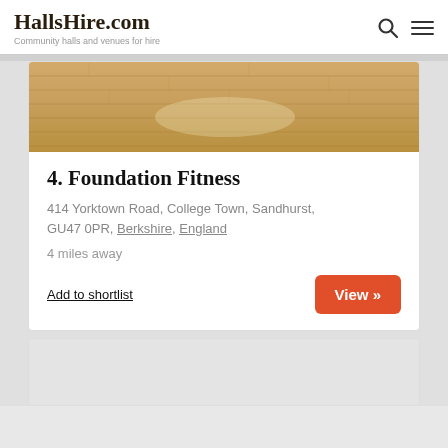HallsHire.com — Community halls and venues for hire
[Figure (photo): Partial view of a wooden gymnasium/hall floor with light wood planks and reflective surface]
4. Foundation Fitness
414 Yorktown Road, College Town, Sandhurst, GU47 0PR, Berkshire, England
4 miles away
Add to shortlist
View »